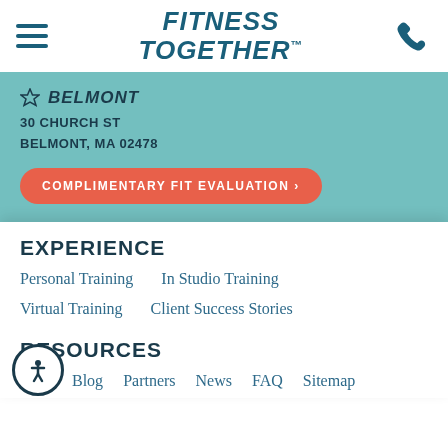[Figure (logo): Fitness Together logo in bold italic teal text with trademark symbol]
★ BELMONT
30 CHURCH ST
BELMONT, MA 02478
COMPLIMENTARY FIT EVALUATION ›
EXPERIENCE
Personal Training
In Studio Training
Virtual Training
Client Success Stories
RESOURCES
Blog
Partners
News
FAQ
Sitemap